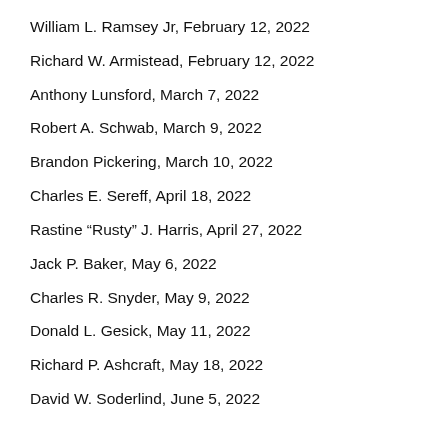William L. Ramsey Jr, February 12, 2022
Richard W. Armistead, February 12, 2022
Anthony Lunsford, March 7, 2022
Robert A. Schwab, March 9, 2022
Brandon Pickering, March 10, 2022
Charles E. Sereff, April 18, 2022
Rastine “Rusty” J. Harris, April 27, 2022
Jack P. Baker, May 6, 2022
Charles R. Snyder, May 9, 2022
Donald L. Gesick, May 11, 2022
Richard P. Ashcraft, May 18, 2022
David W. Soderlind, June 5, 2022